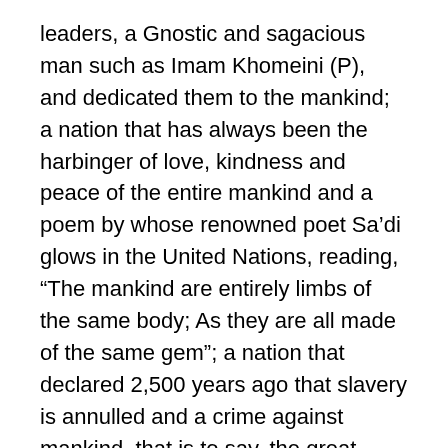leaders, a Gnostic and sagacious man such as Imam Khomeini (P), and dedicated them to the mankind; a nation that has always been the harbinger of love, kindness and peace of the entire mankind and a poem by whose renowned poet Sa'di glows in the United Nations, reading, “The mankind are entirely limbs of the same body; As they are all made of the same gem”; a nation that declared 2,500 years ago that slavery is annulled and a crime against mankind, that is to say, the great Iranian nation, does not need the atomic bomb for its advancement and does not regard it as a means for its grandeur and pride.
The logic and demand of the Iranian nation is the manifestation of the demand of the entire nations.
The entire nations love peace, brotherhood and hate and